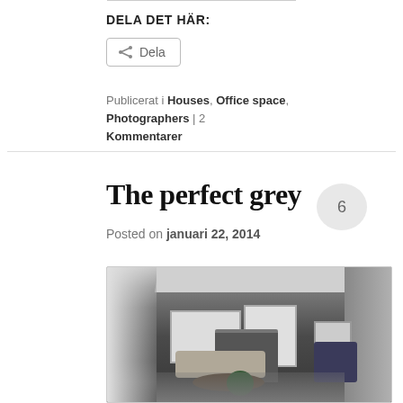DELA DET HÄR:
Dela (share button)
Publicerat i Houses, Office space, Photographers | 2 Kommentarer
The perfect grey
Posted on januari 22, 2014
[Figure (photo): Interior photo of a living room with dark grey walls, coffered ceiling with white beams, fireplace, artwork, sofa, chairs, and low coffee table with plant. Black and white photography style.]